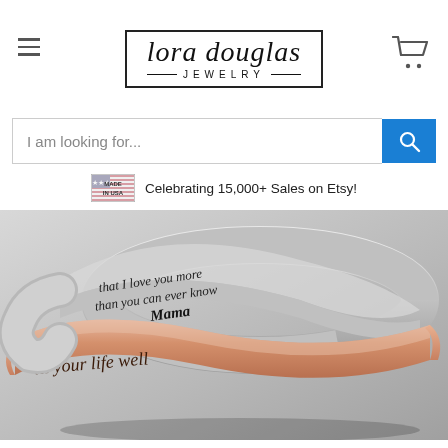[Figure (logo): Lora Douglas Jewelry logo in a rectangle border with script font and 'JEWELRY' in small caps below]
I am looking for...
Celebrating 15,000+ Sales on Etsy!
[Figure (photo): Two cuff bracelets stacked — one silver and one rose gold — with handwritten script text engraved on them reading 'I love you more than you can ever know Mama' and 'til your life well']